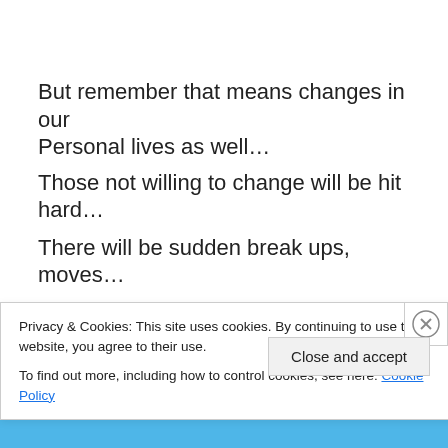But remember that means changes in our Personal lives as well...
Those not willing to change will be hit hard…
There will be sudden break ups, moves…
Putting people where they were meant to be.
The hope in this is that it could mean
This is a good time for finding soul mates…
And believe me, some will
Privacy & Cookies: This site uses cookies. By continuing to use this website, you agree to their use. To find out more, including how to control cookies, see here: Cookie Policy